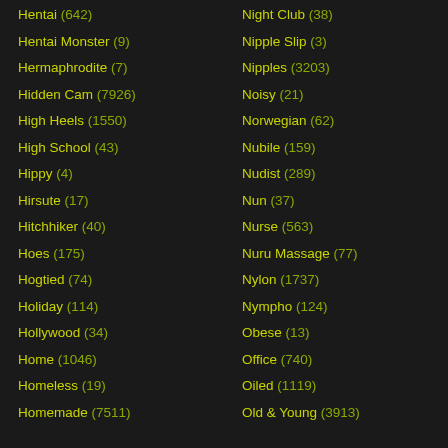Hentai (642)
Hentai Monster (9)
Hermaphrodite (7)
Hidden Cam (7926)
High Heels (1550)
High School (43)
Hippy (4)
Hirsute (17)
Hitchhiker (40)
Hoes (175)
Hogtied (74)
Holiday (114)
Hollywood (34)
Home (1046)
Homeless (19)
Homemade (7511)
Night Club (38)
Nipple Slip (3)
Nipples (3203)
Noisy (21)
Norwegian (62)
Nubile (159)
Nudist (289)
Nun (37)
Nurse (563)
Nuru Massage (77)
Nylon (1737)
Nympho (124)
Obese (13)
Office (740)
Oiled (1119)
Old & Young (3913)